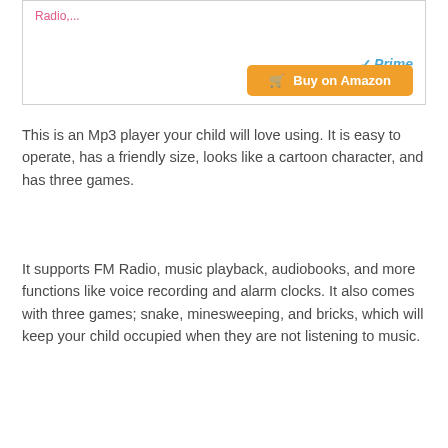Radio,...
✓Prime
Buy on Amazon
This is an Mp3 player your child will love using. It is easy to operate, has a friendly size, looks like a cartoon character, and has three games.
It supports FM Radio, music playback, audiobooks, and more functions like voice recording and alarm clocks. It also comes with three games; snake, minesweeping, and bricks, which will keep your child occupied when they are not listening to music.